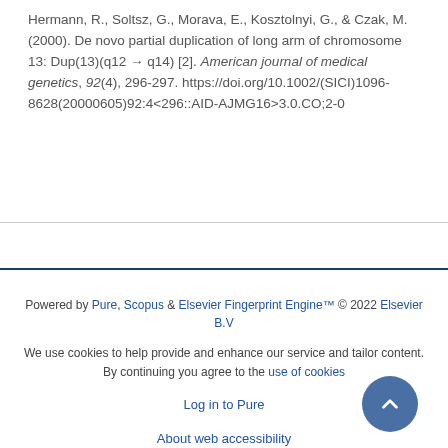Hermann, R., Soltsz, G., Morava, E., Kosztolnyi, G., & Czak, M. (2000). De novo partial duplication of long arm of chromosome 13: Dup(13)(q12 → q14) [2]. American journal of medical genetics, 92(4), 296-297. https://doi.org/10.1002/(SICI)1096-8628(20000605)92:4<296::AID-AJMG16>3.0.CO;2-0
Powered by Pure, Scopus & Elsevier Fingerprint Engine™ © 2022 Elsevier B.V
We use cookies to help provide and enhance our service and tailor content. By continuing you agree to the use of cookies
Log in to Pure
About web accessibility
Contact us